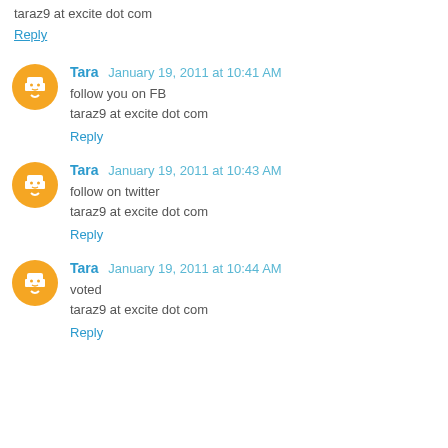taraz9 at excite dot com
Reply
Tara January 19, 2011 at 10:41 AM
follow you on FB
taraz9 at excite dot com
Reply
Tara January 19, 2011 at 10:43 AM
follow on twitter
taraz9 at excite dot com
Reply
Tara January 19, 2011 at 10:44 AM
voted
taraz9 at excite dot com
Reply